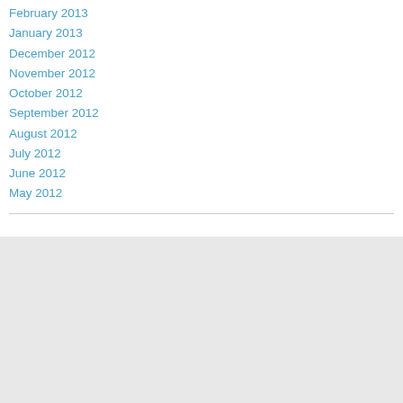February 2013
January 2013
December 2012
November 2012
October 2012
September 2012
August 2012
July 2012
June 2012
May 2012